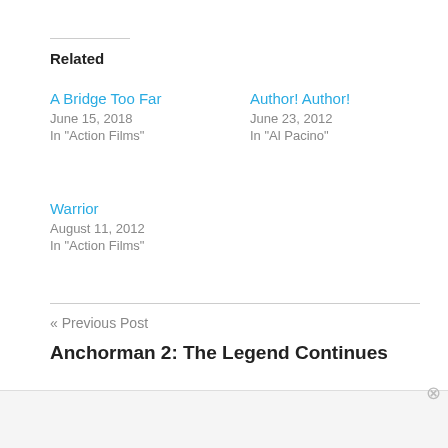Related
A Bridge Too Far
June 15, 2018
In "Action Films"
Author! Author!
June 23, 2012
In "Al Pacino"
Warrior
August 11, 2012
In "Action Films"
« Previous Post
Anchorman 2: The Legend Continues
Advertisements
[Figure (other): DuckDuckGo advertisement banner: 'Search, browse, and email with more privacy. All in One Free App']